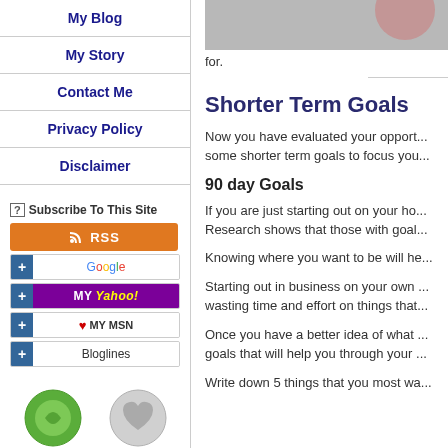My Blog
My Story
Contact Me
Privacy Policy
Disclaimer
[Figure (screenshot): Subscribe to this site section with RSS, Google, Yahoo, MSN, and Bloglines buttons]
[Figure (illustration): Social media icons: green circle icon, grey heart icon, grey g icon, blue stumbleupon icon]
[Figure (photo): Partial photo at top of content area]
for.
Shorter Term Goals
Now you have evaluated your opport... some shorter term goals to focus you...
90 day Goals
If you are just starting out on your ho... Research shows that those with goal...
Knowing where you want to be will he...
Starting out in business on your own ... wasting time and effort on things that...
Once you have a better idea of what ... goals that will help you through your ...
Write down 5 things that you most wa...